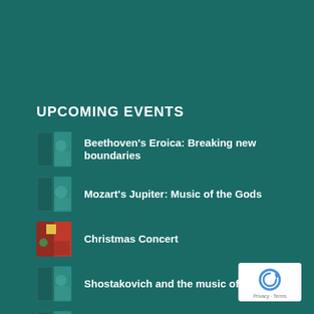UPCOMING EVENTS
Beethoven's Eroica: Breaking new boundaries
Mozart's Jupiter: Music of the Gods
Christmas Concert
Shostakovich and the music of war
Music and the Holocaust
Baroque meets Tango